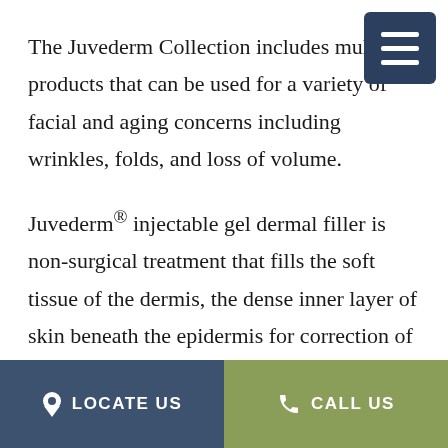The Juvederm Collection includes multiple products that can be used for a variety of facial and aging concerns including wrinkles, folds, and loss of volume.
Juvederm® injectable gel dermal filler is non-surgical treatment that fills the soft tissue of the dermis, the dense inner layer of skin beneath the epidermis for correction of moderate to severe facial wrinkles and folds of the laugh lines, smile lines and parenthesis,-(nasolabial folds).
LOCATE US   CALL US